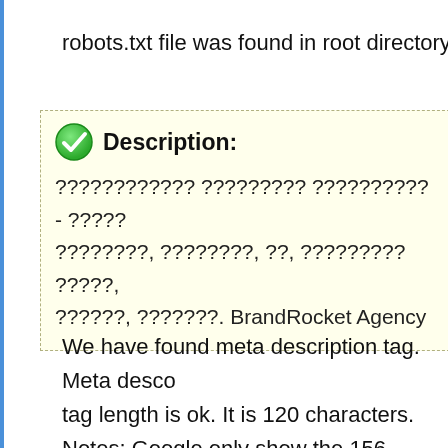robots.txt file was found in root directory.
[Figure (other): Green checkmark icon with white tick inside]
Description:
???????????? ????????? ?????????? - ?????
????????, ????????, ??, ????????? ?????,
??????, ???????. BrandRocket Agency
We have found meta description tag. Meta desco tag length is ok. It is 120 characters.
Notes: Google only show the 156 characters of description tag in search results including space